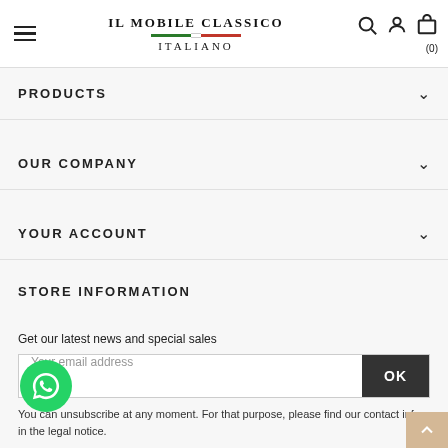Il Mobile Classico Italiano
PRODUCTS
OUR COMPANY
YOUR ACCOUNT
STORE INFORMATION
Get our latest news and special sales
Your email address
You can unsubscribe at any moment. For that purpose, please find our contact info in the legal notice.